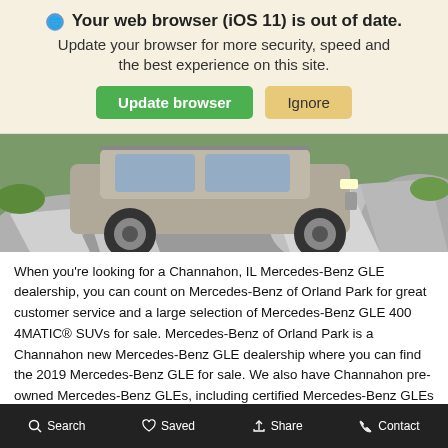🌐 Your web browser (iOS 11) is out of date. Update your browser for more security, speed and the best experience on this site.
[Figure (screenshot): Two buttons: green 'Update browser' button and tan/orange 'Ignore' button]
[Figure (photo): A silver SUV (Mercedes-Benz GLE) driving over rocky terrain with green vegetation and rocks in the background]
When you're looking for a Channahon, IL Mercedes-Benz GLE dealership, you can count on Mercedes-Benz of Orland Park for great customer service and a large selection of Mercedes-Benz GLE 400 4MATIC® SUVs for sale. Mercedes-Benz of Orland Park is a Channahon new Mercedes-Benz GLE dealership where you can find the 2019 Mercedes-Benz GLE for sale. We also have Channahon pre-owned Mercedes-Benz GLEs, including certified Mercedes-Benz GLEs available. Whether you are looking to buy a new or pre-owned vehicle, our helpful staff will work with you on a Channahon Mercedes-Benz GLE lease so that you can start driving as soon as possible. To check out our Channahon Mercedes-Benz GLE prices, visit our website
Search  Saved  Share  Contact